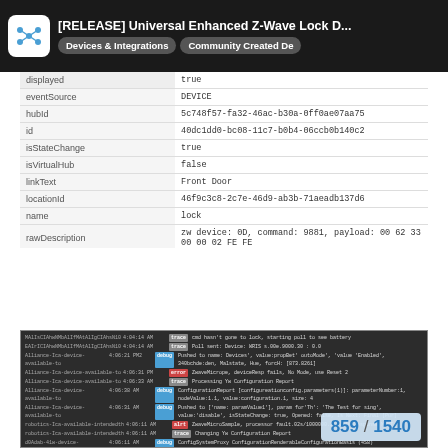[RELEASE] Universal Enhanced Z-Wave Lock D... | Devices & Integrations | Community Created De
| key | value |
| --- | --- |
| displayed | true |
| eventSource | DEVICE |
| hubId | 5c748f57-fa32-46ac-b30a-0ff0ae07aa75 |
| id | 40dc1dd0-bc08-11c7-b0b4-06ccb0b140c2 |
| isStateChange | true |
| isVirtualHub | false |
| linkText | Front Door |
| locationId | 46f9c3c8-2c7e-46d9-ab3b-71aeadb137d6 |
| name | lock |
| rawDescription | zw device: 0D, command: 9881, payload: 00 62 33 00 00 02 FE FE |
| translatable | false |
| unixTime | 1509432625612 |
| value | unlocked |
| viewed | false |
I also captured the logs during a time when the polling happened:
[Figure (screenshot): Log output screenshot showing device polling events with timestamps, log levels (gray/blue/red badges), and log messages. Page counter shows 859 / 1540 in bottom right.]